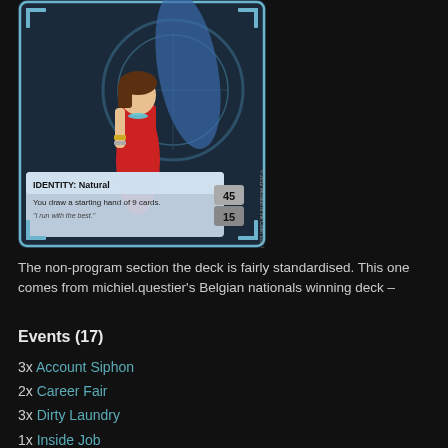[Figure (illustration): A trading card showing a woman in a red dress against a sci-fi background. The card reads: IDENTITY: Natural. You draw a starting hand of 9 cards. 'I run with the best.' Numbers 45 and 15 shown in bottom-right corner boxes.]
The non-program section the deck is fairly standardised. This one comes from michiel.questier's Belgian nationals winning deck –
Events (17)
3x Account Siphon
2x Career Fair
3x Dirty Laundry
1x Inside Job
1x Legwork